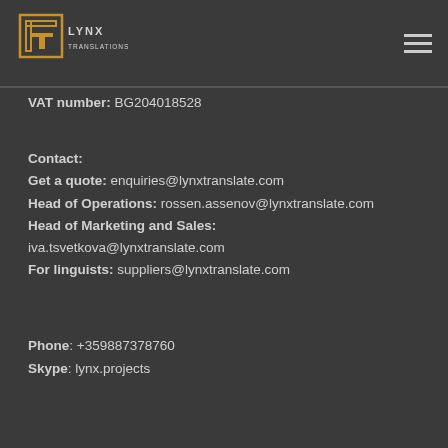[Figure (logo): Lynx Translations logo with stylized L and T lettermark in gold/orange outline, company name LYNX TRANSLATIONS below]
VAT number: BG204018528
Contact:
Get a quote: enquiries@lynxtranslate.com
Head of Operations: rossen.assenov@lynxtranslate.com
Head of Marketing and Sales:
iva.tsvetkova@lynxtranslate.com
For linguists: suppliers@lynxtranslate.com
Phone: +359887378760
Skype: lynx.projects